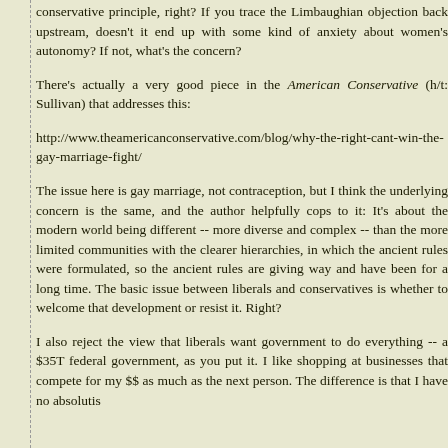conservative principle, right? If you trace the Limbaughian objection back upstream, doesn't it end up with some kind of anxiety about women's autonomy? If not, what's the concern?
There's actually a very good piece in the American Conservative (h/t: Sullivan) that addresses this:
http://www.theamericanconservative.com/blog/why-the-right-cant-win-the-gay-marriage-fight/
The issue here is gay marriage, not contraception, but I think the underlying concern is the same, and the author helpfully cops to it: It's about the modern world being different -- more diverse and complex -- than the more limited communities with the clearer hierarchies, in which the ancient rules were formulated, so the ancient rules are giving way and have been for a long time. The basic issue between liberals and conservatives is whether to welcome that development or resist it. Right?
I also reject the view that liberals want government to do everything -- a $35T federal government, as you put it. I like shopping at businesses that compete for my $$ as much as the next person. The difference is that I have no absolutis